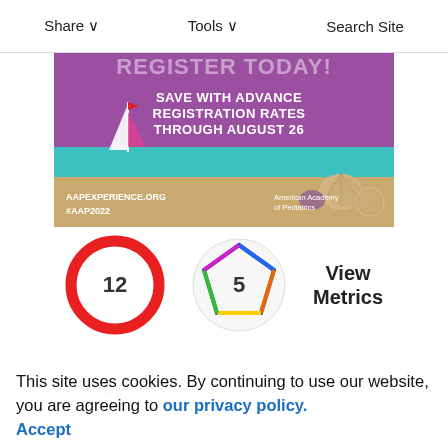Share   Tools   Search Site
[Figure (illustration): AAP National Conference & Exhibition banner. Purple and teal beach scene with sailboat and seashells. Text: REGISTER TODAY! SAVE WITH ADVANCE REGISTRATION RATES THROUGH AUGUST 26. AAPEXPERIENCE.ORG #AAP2022. American Academy of Pediatrics logo.]
[Figure (infographic): Citation count badge (red circle): 12. Altmetric score badge (rainbow polygon): 5. View Metrics label.]
Citing Articles Via
This site uses cookies. By continuing to use our website, you are agreeing to our privacy policy. Accept